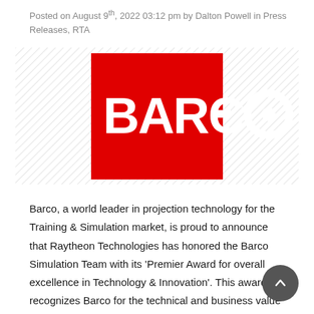Posted on August 9th, 2022 03:12 pm by Dalton Powell in Press Releases, RTA
[Figure (logo): Barco logo — white BARCO wordmark on a red rectangle background, with a hatched/diagonal stripe pattern on either side of the red rectangle.]
Barco, a world leader in projection technology for the Training & Simulation market, is proud to announce that Raytheon Technologies has honored the Barco Simulation Team with its 'Premier Award for overall excellence in Technology & Innovation'. This award recognizes Barco for the technical and business value the company has brought to this partnership over [...]